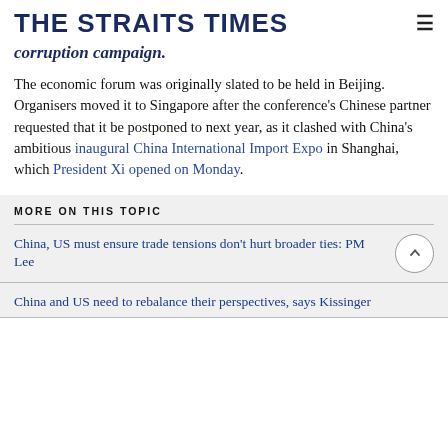THE STRAITS TIMES
corruption campaign.
The economic forum was originally slated to be held in Beijing. Organisers moved it to Singapore after the conference's Chinese partner requested that it be postponed to next year, as it clashed with China's ambitious inaugural China International Import Expo in Shanghai, which President Xi opened on Monday.
MORE ON THIS TOPIC
China, US must ensure trade tensions don't hurt broader ties: PM Lee
China and US need to rebalance their perspectives, says Kissinger